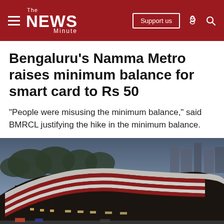The News Minute — Support us
Bengaluru's Namma Metro raises minimum balance for smart card to Rs 50
“People were misusing the minimum balance,” said BMRCL justifying the hike in the minimum balance.
[Figure (photo): Aerial view of a Bengaluru Namma Metro station at dusk, showing the distinctive curved roof structure with red and white striped canopy, with city skyline and trees visible in the background.]